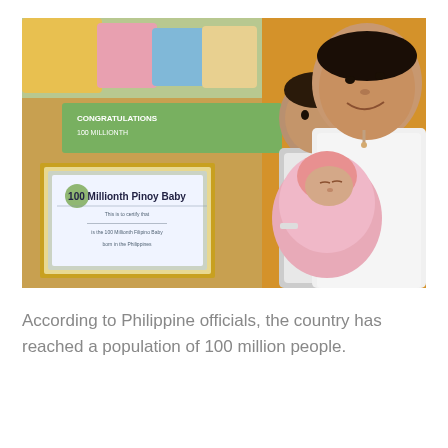[Figure (photo): A woman wearing a white nurse uniform and white headband smiles while holding a newborn baby wrapped in pink blanket. A man stands behind her. A framed certificate reading '100 Millionth Pinoy Baby' is held up in the foreground. A congratulations banner is visible in the background.]
According to Philippine officials, the country has reached a population of 100 million people.